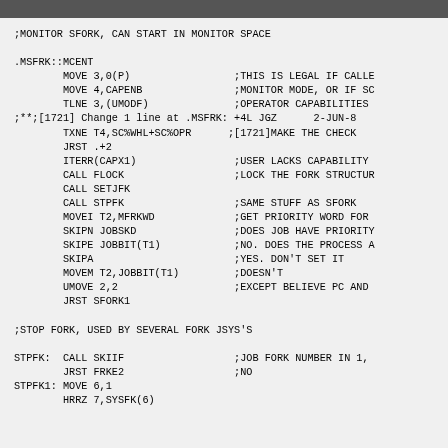;MONITOR SFORK, CAN START IN MONITOR SPACE

.MSFRK::MCENT
	MOVE 3,0(P)			;THIS IS LEGAL IF CALLE
	MOVE 4,CAPENB			;MONITOR MODE, OR IF SC
	TLNE 3,(UMODF)			;OPERATOR CAPABILITIES
;**;[1721] Change 1 line at .MSFRK: +4L JGZ	2-JUN-8
	TXNE T4,SC%WHL+SC%OPR	;[1721]MAKE THE CHECK
	JRST .+2
	ITERR(CAPX1)			;USER LACKS CAPABILITY
	CALL FLOCK			;LOCK THE FORK STRUCTUR
	CALL SETJFK
	CALL STPFK			;SAME STUFF AS SFORK
	MOVEI T2,MFRKWD		;GET PRIORITY WORD FOR
	SKIPN JOBSKD			;DOES JOB HAVE PRIORITY
	SKIPE JOBBIT(T1)		;NO. DOES THE PROCESS A
	SKIPA				;YES. DON'T SET IT
	MOVEM T2,JOBBIT(T1)		;DOESN'T
	UMOVE 2,2			;EXCEPT BELIEVE PC AND
	JRST SFORK1

;STOP FORK, USED BY SEVERAL FORK JSYS'S

STPFK:	CALL SKIIF			;JOB FORK NUMBER IN 1,
	JRST FRKE2			;NO
STPFK1:	MOVE 6,1
	HRRZ 7,SYSFK(6)